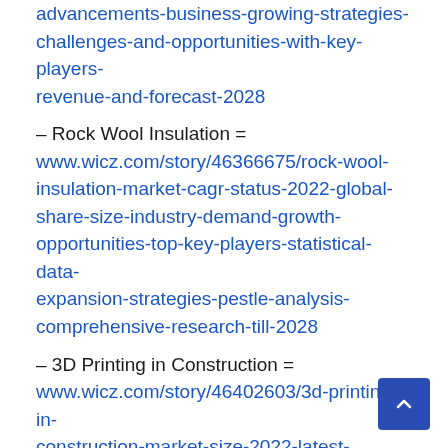advancements-business-growing-strategies-challenges-and-opportunities-with-key-players-revenue-and-forecast-2028
– Rock Wool Insulation = www.wicz.com/story/46366675/rock-wool-insulation-market-cagr-status-2022-global-share-size-industry-demand-growth-opportunities-top-key-players-statistical-data-expansion-strategies-pestle-analysis-comprehensive-research-till-2028
– 3D Printing in Construction = www.wicz.com/story/46402603/3d-printing-in-construction-market-size-2022-latest-business-opportunities-growth-statistics-industry-share-upcoming-trends-covid-19-impact-demand-analysis-by-top-leading-players-strategies-and-forecast-2028